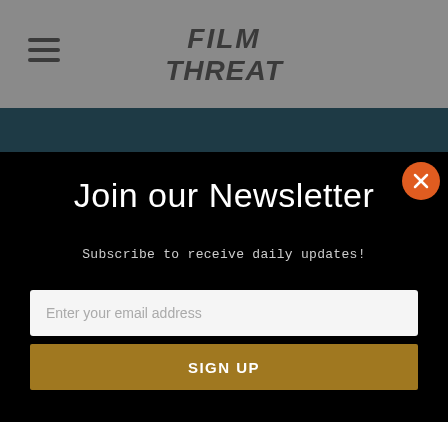[Figure (logo): Film Threat website header with hamburger menu icon on left and Film Threat logo in center on gray background]
Join our Newsletter
Subscribe to receive daily updates!
Enter your email address
SIGN UP